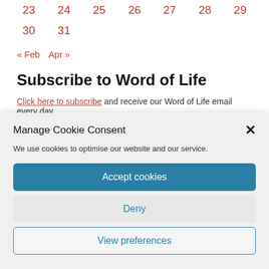| 23 | 24 | 25 | 26 | 27 | 28 | 29 |
| 30 | 31 |  |  |  |  |  |
« Feb   Apr »
Subscribe to Word of Life
Click here to subscribe and receive our Word of Life email every day
Manage Cookie Consent
We use cookies to optimise our website and our service.
Accept cookies
Deny
View preferences